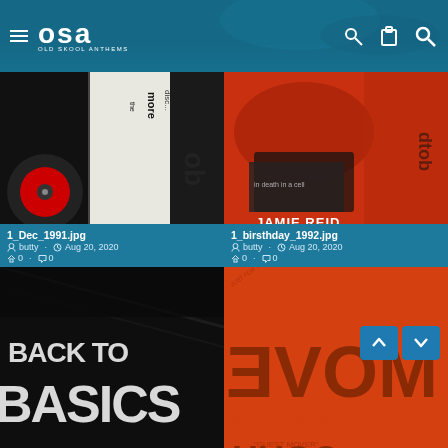OSA OLD SKOOL ANTHEMS
[Figure (screenshot): Card grid showing record flyer images with metadata. Top-left: 1_Dec_1991.jpg by butty, Aug 20 2020. Top-right: 1_birsthday_1992.jpg by butty, Aug 20 2020. Middle-left: 1_BackToBasics_DanzaMay91.jpg by butty, Aug 20 2020. Middle-right: 1_Back_to_Basics__Move_Venu... by butty, Aug 20 2020. Bottom-left: partial orange/red image. Bottom-right: Thank You and Good... Last Night... At the>music.factory Party.]